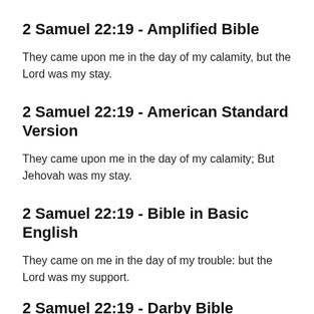2 Samuel 22:19 - Amplified Bible
They came upon me in the day of my calamity, but the Lord was my stay.
2 Samuel 22:19 - American Standard Version
They came upon me in the day of my calamity; But Jehovah was my stay.
2 Samuel 22:19 - Bible in Basic English
They came on me in the day of my trouble: but the Lord was my support.
2 Samuel 22:19 - Darby Bible